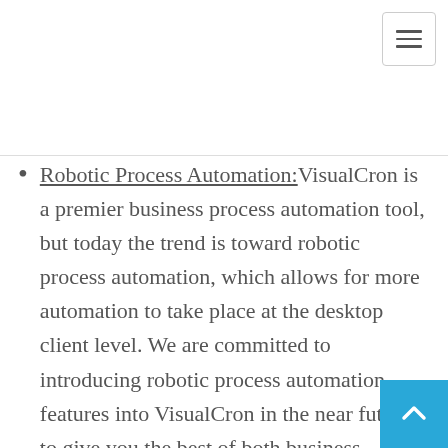[Figure (other): Hamburger menu icon button in top right corner]
Robotic Process Automation: VisualCron is a premier business process automation tool, but today the trend is toward robotic process automation, which allows for more automation to take place at the desktop client level. We are committed to introducing robotic process automation features into VisualCron in the near future, to give you the best of both business process and robotic automation capabilities
Mobile applications: We are developing a mobile application for VisualCron that will be compatible with both Apple iOS and Android operating systems. Through this app you can not only receive job and task notifications, but also interact directly with your VisualCron servers, and more.